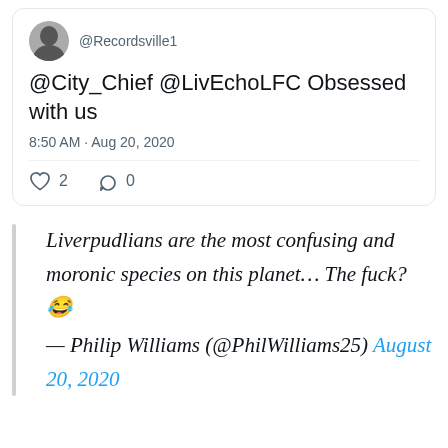[Figure (screenshot): Twitter/social media screenshot showing a tweet from @Recordsville1]
@City_Chief @LivEchoLFC Obsessed with us
8:50 AM · Aug 20, 2020
♡ 2  ◯ 0
Liverpudlians are the most confusing and moronic species on this planet… The fuck? 😂 — Philip Williams (@PhilWilliams25) August 20, 2020